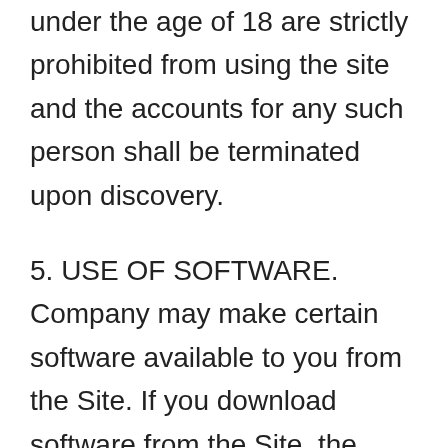under the age of 18 are strictly prohibited from using the site and the accounts for any such person shall be terminated upon discovery.
5. USE OF SOFTWARE. Company may make certain software available to you from the Site. If you download software from the Site, the software, including all files and images contained in or generated by the software, and